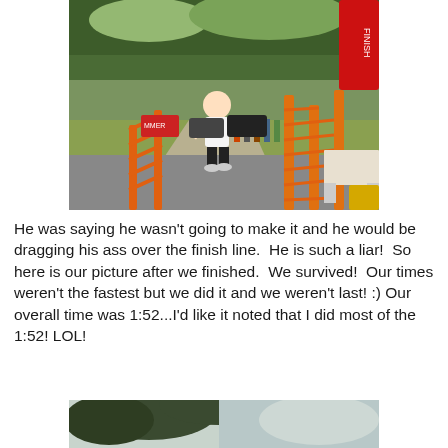[Figure (photo): A man in a white t-shirt and black shorts running near the finish line of a race, with orange barrier fencing, a red finish banner, spectators, cars and trees in the background.]
He was saying he wasn't going to make it and he would be dragging his ass over the finish line.  He is such a liar!  So here is our picture after we finished.  We survived!  Our times weren't the fastest but we did it and we weren't last! :) Our overall time was 1:52...I'd like it noted that I did most of the 1:52! LOL!
[Figure (photo): Partial photo visible at the bottom of the page showing trees against a cloudy sky, cropped.]